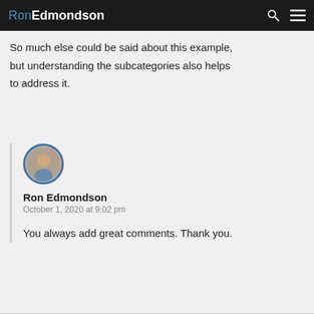RonEdmondson
So much else could be said about this example, but understanding the subcategories also helps to address it.
[Figure (photo): Circular avatar photo of Ron Edmondson with blue border]
Ron Edmondson
October 1, 2020 at 9:02 pm
You always add great comments. Thank you.